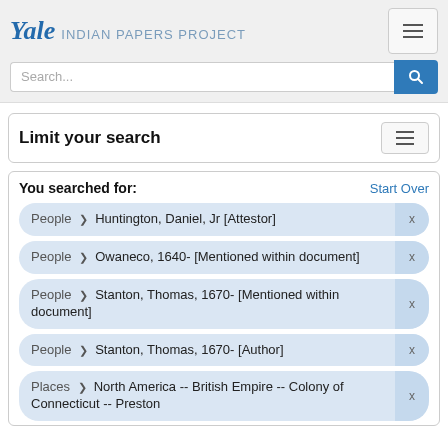Yale INDIAN PAPERS PROJECT
Search...
Limit your search
You searched for:
Start Over
People > Huntington, Daniel, Jr [Attestor]
People > Owaneco, 1640- [Mentioned within document]
People > Stanton, Thomas, 1670- [Mentioned within document]
People > Stanton, Thomas, 1670- [Author]
Places > North America -- British Empire -- Colony of Connecticut -- Preston